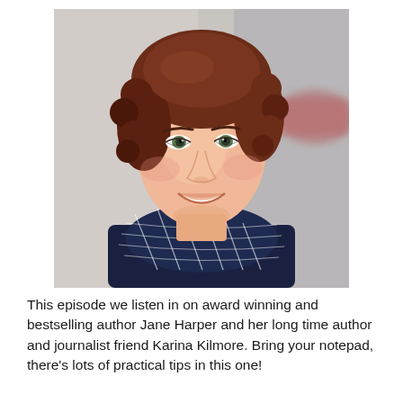[Figure (photo): Portrait photo of a smiling woman with curly auburn/red hair, wearing a dark navy jacket and a navy plaid/grid-pattern scarf with white lines. Background is blurred light grey and out-of-focus street scene.]
This episode we listen in on award winning and bestselling author Jane Harper and her long time author and journalist friend Karina Kilmore. Bring your notepad, there's lots of practical tips in this one!